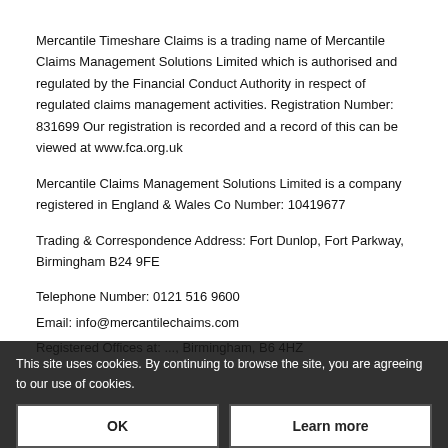Mercantile Timeshare Claims is a trading name of Mercantile Claims Management Solutions Limited which is authorised and regulated by the Financial Conduct Authority in respect of regulated claims management activities. Registration Number: 831699 Our registration is recorded and a record of this can be viewed at www.fca.org.uk
Mercantile Claims Management Solutions Limited is a company registered in England & Wales Co Number: 10419677
Trading & Correspondence Address: Fort Dunlop, Fort Parkway, Birmingham B24 9FE
Telephone Number: 0121 516 9600
Email: info@mercantilechaims.com
Registered Offices at: ..., Birmingham, B6 4HZ
This site uses cookies. By continuing to browse the site, you are agreeing to our use of cookies.